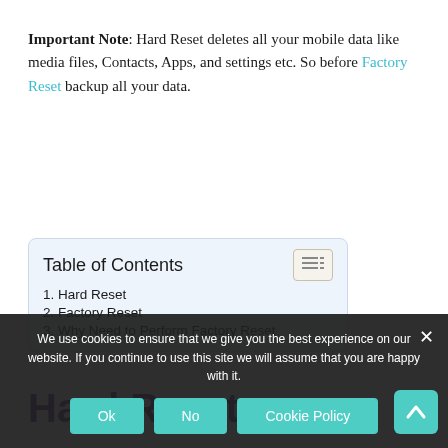Important Note: Hard Reset deletes all your mobile data like media files, Contacts, Apps, and settings etc. So before Factory Reset backup all your data.
| Table of Contents |
| --- |
| 1. Hard Reset |
| 2. Factory Reset |
| 3. Why Need to Perform Factory Reset |
Hard Reset
We use cookies to ensure that we give you the best experience on our website. If you continue to use this site we will assume that you are happy with it.